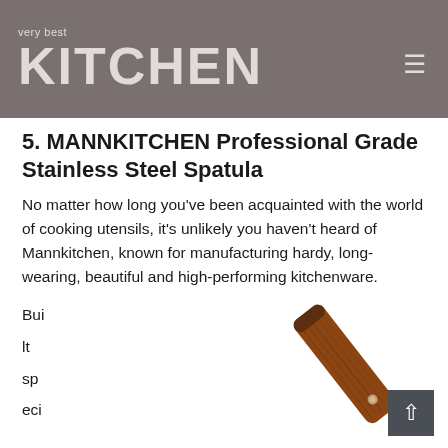very best KITCHEN
5. MANNKITCHEN Professional Grade Stainless Steel Spatula
No matter how long you've been acquainted with the world of cooking utensils, it's unlikely you haven't heard of Mannkitchen, known for manufacturing hardy, long-wearing, beautiful and high-performing kitchenware.
Bui
lt
sp
eci
[Figure (photo): A wooden-handled spatula with a dark wood grip, photographed diagonally from above showing the handle end.]